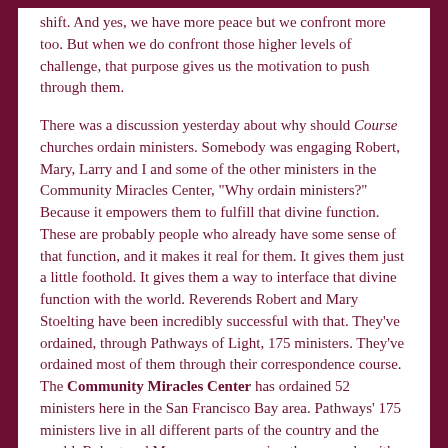shift. And yes, we have more peace but we confront more too. But when we do confront those higher levels of challenge, that purpose gives us the motivation to push through them.
There was a discussion yesterday about why should Course churches ordain ministers. Somebody was engaging Robert, Mary, Larry and I and some of the other ministers in the Community Miracles Center, "Why ordain ministers?" Because it empowers them to fulfill that divine function. These are probably people who already have some sense of that function, and it makes it real for them. It gives them just a little foothold. It gives them a way to interface that divine function with the world. Reverends Robert and Mary Stoelting have been incredibly successful with that. They've ordained, through Pathways of Light, 175 ministers. They've ordained most of them through their correspondence course. The Community Miracles Center has ordained 52 ministers here in the San Francisco Bay area. Pathways' 175 ministers live in all different parts of the country and the world. Robert and Mary are empowering these people with that sense of mission. That's Rev. Robert and Rev. Mary fulfilling their messianic purpose. They're changing the world. Why ordain ministers? Because it changes the world. It lets people connect with their